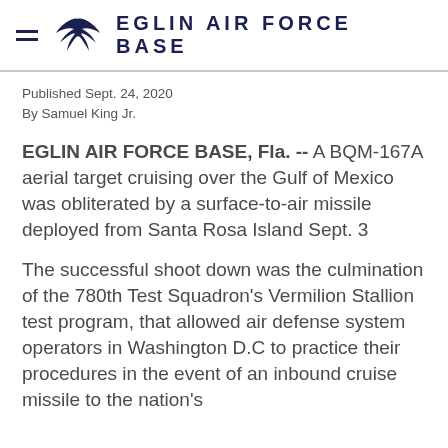EGLIN AIR FORCE BASE
Published Sept. 24, 2020
By Samuel King Jr.
EGLIN AIR FORCE BASE, Fla. --  A BQM-167A aerial target cruising over the Gulf of Mexico was obliterated by a surface-to-air missile deployed from Santa Rosa Island Sept. 3
The successful shoot down was the culmination of the 780th Test Squadron's Vermilion Stallion test program, that allowed air defense system operators in Washington D.C to practice their procedures in the event of an inbound cruise missile to the nation's